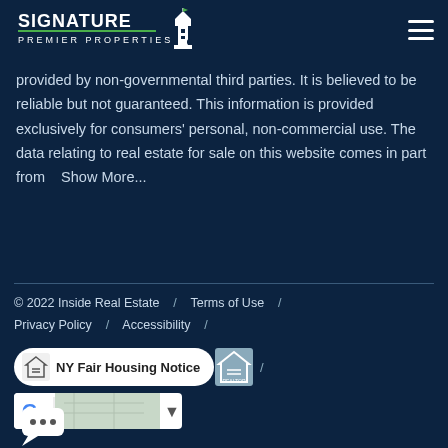[Figure (logo): Signature Premier Properties lighthouse logo with text]
provided by non-governmental third parties. It is believed to be reliable but not guaranteed. This information is provided exclusively for consumers' personal, non-commercial use. The data relating to real estate for sale on this website comes in part from   Show More...
© 2022 Inside Real Estate  /  Terms of Use  /  Privacy Policy  /  Accessibility  /
[Figure (logo): NY Fair Housing Notice pill with equal housing logo]
[Figure (screenshot): Google map widget / review widget]
[Figure (illustration): Chat bubble icon with three dots]